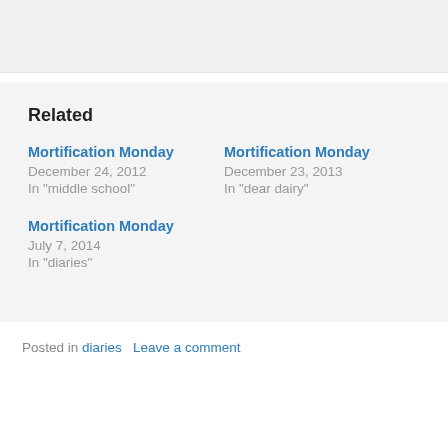Related
Mortification Monday
December 24, 2012
In "middle school"
Mortification Monday
December 23, 2013
In "dear dairy"
Mortification Monday
July 7, 2014
In "diaries"
Posted in diaries   Leave a comment